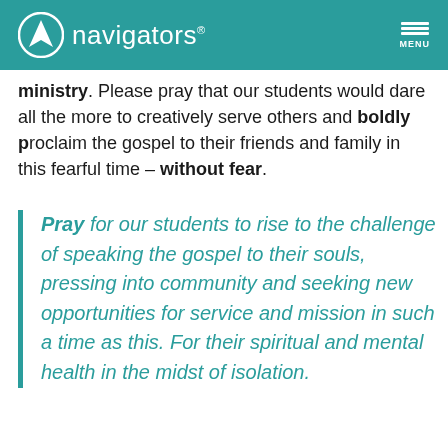navigators
ministry. Please pray that our students would dare all the more to creatively serve others and boldly proclaim the gospel to their friends and family in this fearful time – without fear.
Pray for our students to rise to the challenge of speaking the gospel to their souls, pressing into community and seeking new opportunities for service and mission in such a time as this. For their spiritual and mental health in the midst of isolation.